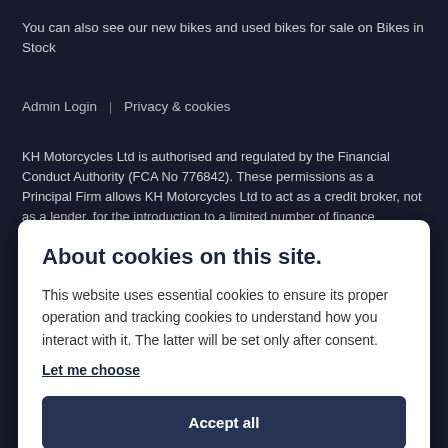You can also see our new bikes and used bikes for sale on Bikes in Stock
Admin Login  |  Privacy & cookies
KH Motorcycles Ltd is authorised and regulated by the Financial Conduct Authority (FCA No 776842). These permissions as a Principal Firm allows KH Motorcycles Ltd to act as a credit broker, not as a lender, for the introduction to a limited number of finance providers and to act as an agent on behalf of
About cookies on this site.
This website uses essential cookies to ensure its proper operation and tracking cookies to understand how you interact with it. The latter will be set only after consent.
Let me choose
Accept all
Reject all